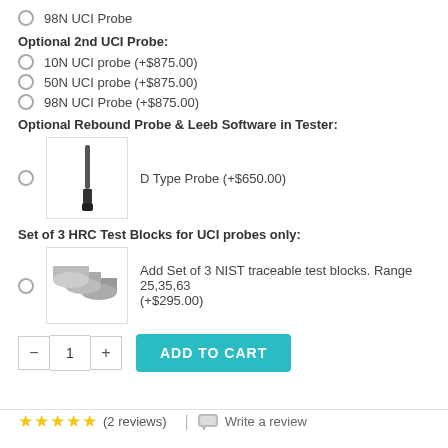98N UCI Probe
Optional 2nd UCI Probe:
10N UCI probe (+$875.00)
50N UCI probe (+$875.00)
98N UCI Probe (+$875.00)
Optional Rebound Probe & Leeb Software in Tester:
D Type Probe (+$650.00)
Set of 3 HRC Test Blocks for UCI probes only:
Add Set of 3 NIST traceable test blocks. Range 25,35,63 (+$295.00)
1
ADD TO CART
(2 reviews)
Write a review